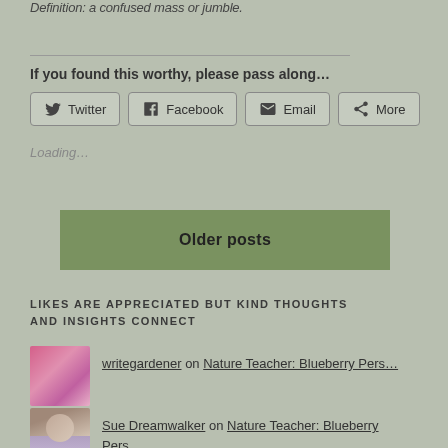Definition: a confused mass or jumble.
If you found this worthy, please pass along...
[Figure (screenshot): Social share buttons: Twitter, Facebook, Email, More]
Loading...
Older posts
LIKES ARE APPRECIATED BUT KIND THOUGHTS AND INSIGHTS CONNECT
writegardener on Nature Teacher: Blueberry Pers…
Sue Dreamwalker on Nature Teacher: Blueberry Pers…